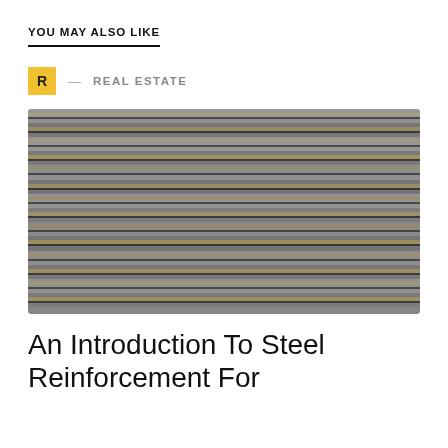YOU MAY ALSO LIKE
R — REAL ESTATE
[Figure (photo): Stack of steel reinforcement bars (rebar) with ridged texture, showing silver and rust-orange coloring, photographed close-up from above at a slight angle.]
An Introduction To Steel Reinforcement For